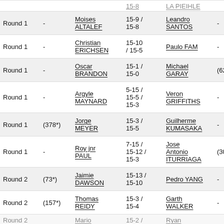| Round | Seed1 | Player1 | Score | Player2 | Seed2 | Extra |
| --- | --- | --- | --- | --- | --- | --- |
| Round 1 | - | Moises ALTALEF | 15-9 / 15-8 | Leandro SANTOS | - | 0 |
| Round 1 | - | Christian ERICHSEN | 15-10 / 15-5 | Paulo FAM | - | 0 |
| Round 1 | - | Oscar BRANDON | 15-1 / 15-0 | Michael GARAY | (628*) | 0 |
| Round 1 | - | Argyle MAYNARD | 5-15 / 15-5 / 15-3 | Veron GRIFFITHS | - | 0 |
| Round 1 | (378*) | Jorge MEYER | 15-3 / 15-5 | Guilherme KUMASAKA | - | 0 |
| Round 1 | - | Roy jnr PAUL | 7-15 / 15-12 / 15-3 | Jose Antonio ITURRIAGA | (301*) | 0 |
| Round 2 | (73*) | Jaimie DAWSON | 15-13 / 15-10 | Pedro YANG | - | 0 |
| Round 2 | (157*) | Thomas REIDY | 15-3 / 15-4 | Garth WALKER | - | 0 |
| Round 2 (partial) | - | Mario | 15-2 / | Ryan |  |  |